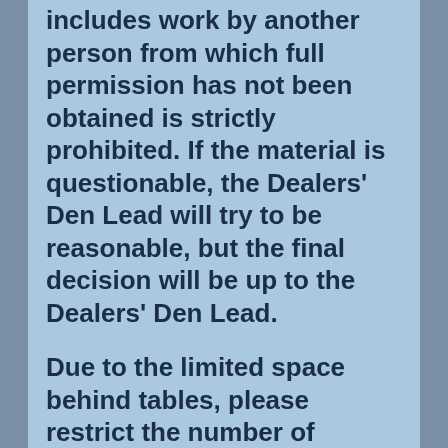includes work by another person from which full permission has not been obtained is strictly prohibited. If the material is questionable, the Dealers' Den Lead will try to be reasonable, but the final decision will be up to the Dealers' Den Lead.
Due to the limited space behind tables, please restrict the number of people seated at any full table to two. Keep all items neatly piled under the table or as close to it as possible do not impede the passage of other Dealers behind the tables. Any items that are placed in the aisle in such a way that customer traffic is impeded will be removed by the Dealers' Den Lead. Any person or group of